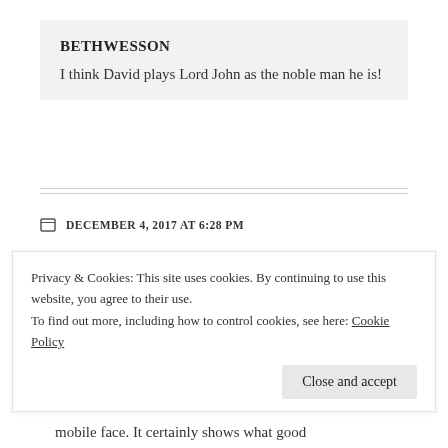BETHWESSON
I think David plays Lord John as the noble man he is!
DECEMBER 4, 2017 AT 6:28 PM
REPLY
FRANCES YANCEY
Everyone post about LJG says that they think David did an excellent job. Both he and Sam
Privacy & Cookies: This site uses cookies. By continuing to use this website, you agree to their use.
To find out more, including how to control cookies, see here: Cookie Policy
Close and accept
mobile face. It certainly shows what good